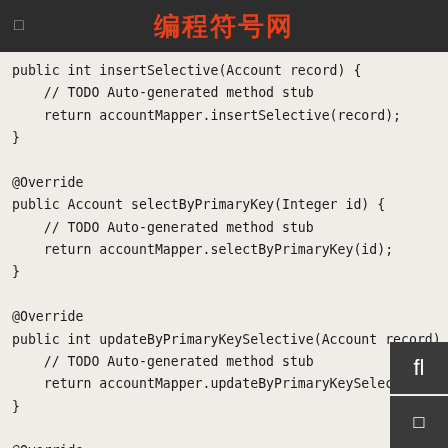编程符号网
public int insertSelective(Account record) {
    // TODO Auto-generated method stub
    return accountMapper.insertSelective(record);
}

@Override
public Account selectByPrimaryKey(Integer id) {
    // TODO Auto-generated method stub
    return accountMapper.selectByPrimaryKey(id);
}

@Override
public int updateByPrimaryKeySelective(Account record)
    // TODO Auto-generated method stub
    return accountMapper.updateByPrimaryKeySelective(r
}

@Override
public int updateByPrimaryKey(Account record) {
    // TODO Auto-generated method stub
    return accountMapper.updateByPrimaryKey(rec
}